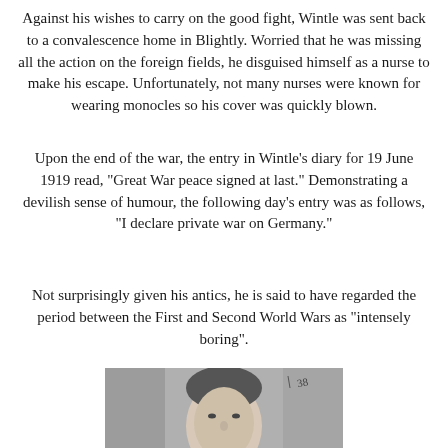Against his wishes to carry on the good fight, Wintle was sent back to a convalescence home in Blightly. Worried that he was missing all the action on the foreign fields, he disguised himself as a nurse to make his escape. Unfortunately, not many nurses were known for wearing monocles so his cover was quickly blown.
Upon the end of the war, the entry in Wintle’s diary for 19 June 1919 read, "Great War peace signed at last." Demonstrating a devilish sense of humour, the following day’s entry was as follows, "I declare private war on Germany."
Not surprisingly given his antics, he is said to have regarded the period between the First and Second World Wars as “intensely boring”.
[Figure (photo): Black and white portrait photograph of a man, likely Alfred Wintle, showing his head and upper shoulders]